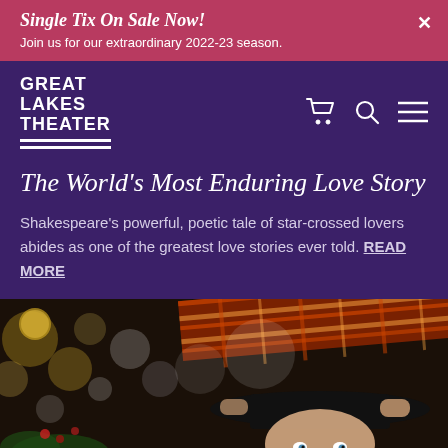Single Tix On Sale Now! Join us for our extraordinary 2022-23 season.
[Figure (logo): Great Lakes Theater logo in white text on purple background]
The World's Most Enduring Love Story
Shakespeare's powerful, poetic tale of star-crossed lovers abides as one of the greatest love stories ever told. READ MORE
[Figure (photo): Theater performer in black hat holding a plaid-patterned object overhead, with bokeh Christmas decorations in background]